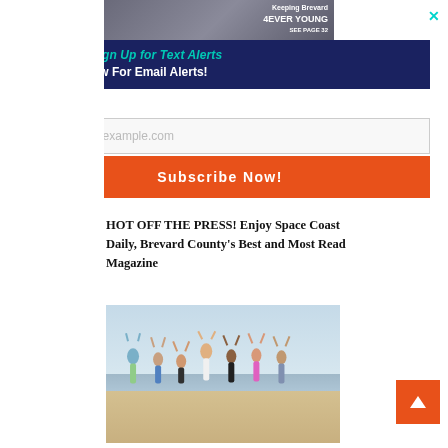[Figure (photo): Advertisement banner showing magazine cover with text 'Keeping Brevard 4EVER YOUNG SEE PAGE 32' with a person in background]
Click Here to Sign Up for Text Alerts
Or Signup Below For Email Alerts!
johnsmith@example.com (email input placeholder)
Subscribe Now!
HOT OFF THE PRESS! Enjoy Space Coast Daily, Brevard County's Best and Most Read Magazine
[Figure (photo): Group of seven people jumping joyfully on a beach with clear sky and ocean in the background]